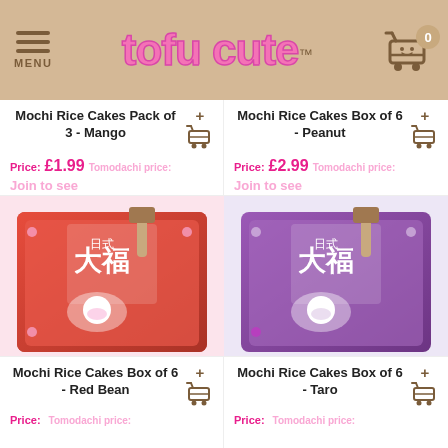MENU | tofu cute™ | 0
Mochi Rice Cakes Pack of 3 - Mango
Price: £1.99  Tomodachi price: Join to see
Mochi Rice Cakes Box of 6 - Peanut
Price: £2.99  Tomodachi price: Join to see
[Figure (photo): Box of Japanese Daifuku Mochi Rice Cakes - Red/pink packaging with two mochi pieces displayed in front, pink background]
[Figure (photo): Box of Japanese Daifuku Mochi Rice Cakes - Purple packaging with two coconut-coated mochi pieces displayed in front, purple/lavender background]
Mochi Rice Cakes Box of 6 - Red Bean
Price: Tomodachi price:
Mochi Rice Cakes Box of 6 - Taro
Price: Tomodachi price: